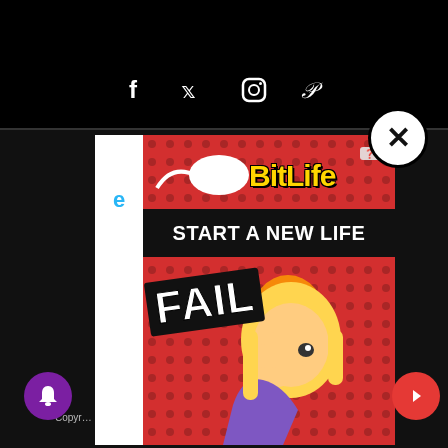Social media icons: Facebook, Twitter, Instagram, Pinterest
[Figure (screenshot): BitLife mobile game advertisement banner: red polka-dot background with sperm logo, 'BitLife' in yellow bold text, 'START A NEW LIFE' banner in white text on black, cartoon blonde girl facepalming with 'FAIL' text overlay in white on black, close button (X) in top right circle]
Copyr... " is a
Copyright notice partial text